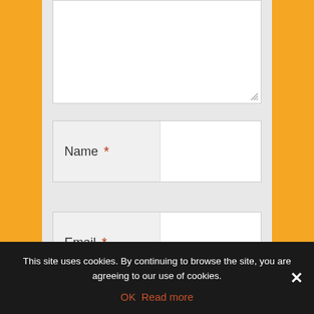[Figure (screenshot): Web form with textarea, Name field (required), Email field (required), and Website field, shown on orange background with gray form area]
This site uses cookies. By continuing to browse the site, you are agreeing to our use of cookies.
OK   Read more